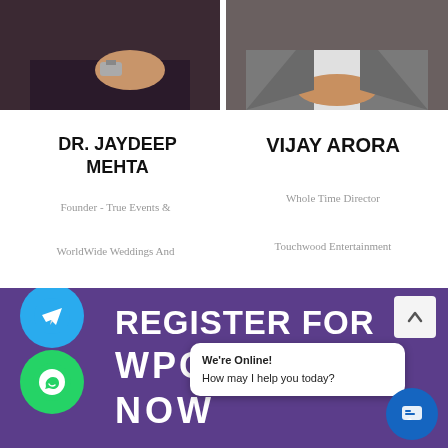[Figure (photo): Partial photo of Dr. Jaydeep Mehta wearing dark shirt and watch, cropped at top]
[Figure (photo): Partial photo of Vijay Arora in grey suit with hands folded, cropped at top]
DR. JAYDEEP MEHTA
Founder - True Events & WorldWide Weddings And Founder President - Event Management Federation Global
VIJAY ARORA
Whole Time Director Touchwood Entertainment Limited
[Figure (infographic): Purple banner with text REGISTER FOR WPC NOW, Telegram icon, WhatsApp icon, chat bubble saying We're Online! How may I help you today?, blue chat circle, up arrow button]